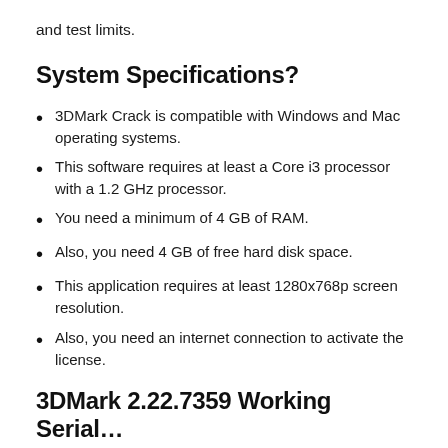and test limits.
System Specifications?
3DMark Crack is compatible with Windows and Mac operating systems.
This software requires at least a Core i3 processor with a 1.2 GHz processor.
You need a minimum of 4 GB of RAM.
Also, you need 4 GB of free hard disk space.
This application requires at least 1280x768p screen resolution.
Also, you need an internet connection to activate the license.
3DMark 2.22.7359 Working Serial…